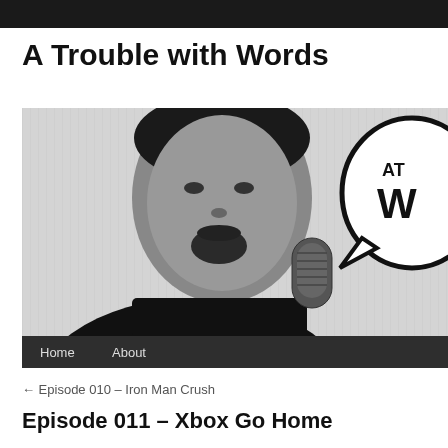A Trouble with Words
[Figure (photo): Black and white photo of a man with dark hair and goatee, wearing a black shirt, holding a vintage microphone. On the right side is a speech bubble graphic with 'AT W' text visible (partially cropped). Below the photo is a dark navigation bar with 'Home' and 'About' links.]
← Episode 010 – Iron Man Crush
Episode 011 – Xbox Go Home